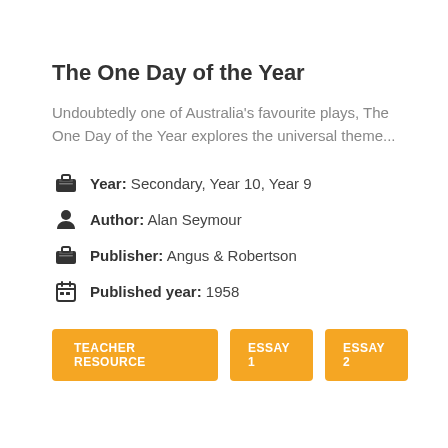The One Day of the Year
Undoubtedly one of Australia's favourite plays, The One Day of the Year explores the universal theme...
Year: Secondary, Year 10, Year 9
Author: Alan Seymour
Publisher: Angus & Robertson
Published year: 1958
TEACHER RESOURCE   ESSAY 1   ESSAY 2